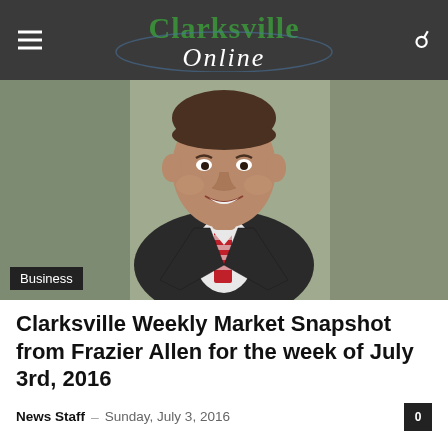Clarksville Online
[Figure (photo): Professional headshot of a man in a dark suit with a red striped tie, smiling, against a grey-green background. Business category label in bottom-left corner.]
Clarksville Weekly Market Snapshot from Frazier Allen for the week of July 3rd, 2016
News Staff – Sunday, July 3, 2016